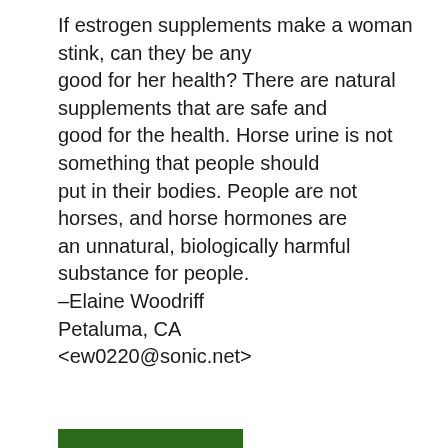If estrogen supplements make a woman stink, can they be any good for her health? There are natural supplements that are safe and good for the health. Horse urine is not something that people should put in their bodies. People are not horses, and horse hormones are an unnatural, biologically harmful substance for people. –Elaine Woodriff Petaluma, CA <ew0220@sonic.net>
READ MORE
Letters